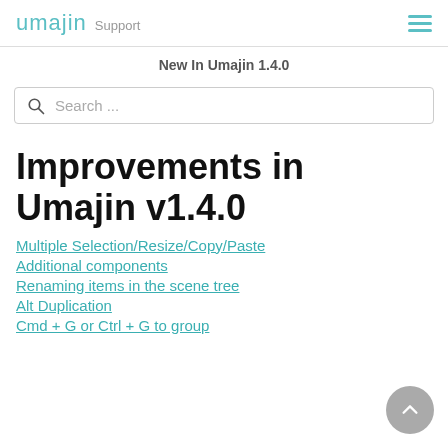umajin Support
New In Umajin 1.4.0
Improvements in Umajin v1.4.0
Multiple Selection/Resize/Copy/Paste
Additional components
Renaming items in the scene tree
Alt Duplication
Cmd + G or Ctrl + G to group